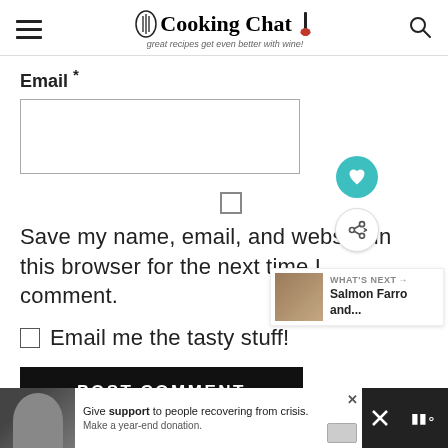Cooking Chat — great recipes get even better with wine!
Email *
Save my name, email, and website in this browser for the next time I comment.
Email me the tasty stuff!
POST COMMENT
[Figure (infographic): What's Next promotional box showing Salmon Farro and... with a thumbnail image]
[Figure (infographic): Advertisement bar: Give support to people recovering from crisis. Make a year-end donation.]